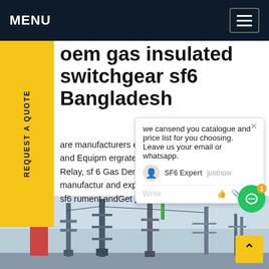MENU
oem gas insulated switchgear sf6 Bangladesh
are manufacturers exporters of afluoride Instrument and Equipment ergrated Tester and Infrared Imager nsity Relay, sf 6 Gas Density ter,comprehensively manufacturing and exporting a wide assortment of gaz sf6 rument andGet price
REQUEST A QUOTE
we cansend you catalogue and price list for you choosing. Leave us your email or whatsapp.
SF6 Expert   justnow
Write
[Figure (photo): Industrial gas insulated switchgear infrastructure with tall metal towers and structures against a sky background]